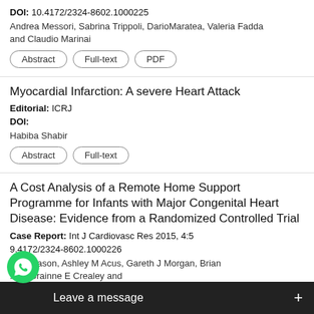DOI: 10.4172/2324-8602.1000225
Andrea Messori, Sabrina Trippoli, DarioMaratea, Valeria Fadda and Claudio Marinai
Abstract | Full-text | PDF
Myocardial Infarction: A severe Heart Attack
Editorial: ICRJ
DOI:
Habiba Shabir
Abstract | Full-text
A Cost Analysis of a Remote Home Support Programme for Infants with Major Congenital Heart Disease: Evidence from a Randomized Controlled Trial
Case Report: Int J Cardiovasc Res 2015, 4:5
9.4172/2324-8602.1000226
McGreason, Ashley M Acus, Gareth J Morgan, Brian ...ig, Grainne E Crealey and Fran...